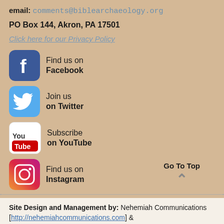email: comments@biblearchaeology.org
PO Box 144, Akron, PA 17501
Click here for our Privacy Policy
[Figure (logo): Facebook logo icon — blue rounded square with white 'f']
Find us on Facebook
[Figure (logo): Twitter logo icon — light blue rounded square with white bird]
Join us on Twitter
[Figure (logo): YouTube logo icon — white rounded square with YouTube 'You' text and red 'Tube' bar]
Subscribe on YouTube
[Figure (logo): Instagram logo icon — gradient orange/pink/purple rounded square with camera outline]
Find us on Instagram
Go To Top
Site Design and Management by: Nehemiah Communications [http://nehemiahcommunications.com] &
aleph [http://aleph...]